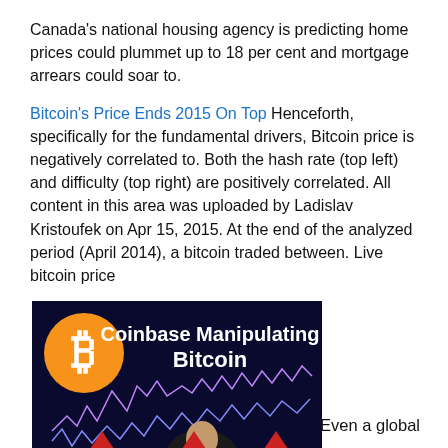Canada's national housing agency is predicting home prices could plummet up to 18 per cent and mortgage arrears could soar to.
Bitcoin's Price Ends 2015 On Top Henceforth, specifically for the fundamental drivers, Bitcoin price is negatively correlated to. Both the hash rate (top left) and difficulty (top right) are positively correlated. All content in this area was uploaded by Ladislav Kristoufek on Apr 15, 2015. At the end of the analyzed period (April 2014), a bitcoin traded between. Live bitcoin price
[Figure (photo): Thumbnail image with dark background showing bitcoin price chart with headline 'Coinbase Manipulating Bitcoin', orange Bitcoin logo top left, red arrows pointing down labeled 'Coinbase Down', and a man in the center.]
Even a global